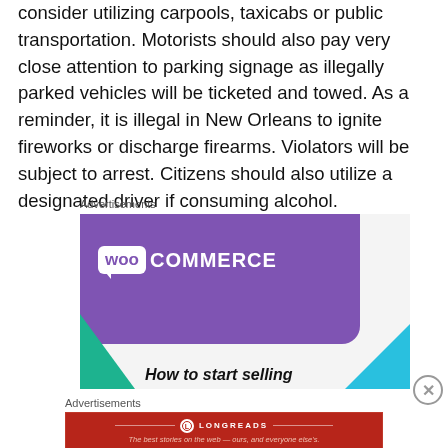consider utilizing carpools, taxicabs or public transportation. Motorists should also pay very close attention to parking signage as illegally parked vehicles will be ticketed and towed. As a reminder, it is illegal in New Orleans to ignite fireworks or discharge firearms. Violators will be subject to arrest. Citizens should also utilize a designated driver if consuming alcohol.
Advertisements
[Figure (illustration): WooCommerce advertisement banner with purple background showing logo and 'How to start selling' text with teal and blue geometric shapes]
Advertisements
[Figure (illustration): Longreads advertisement: dark red banner with Longreads logo and tagline 'The best stories on the web — ours, and everyone else's.']